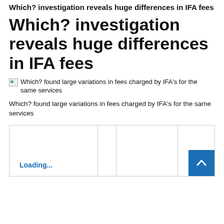Which? investigation reveals huge differences in IFA fees
Which? investigation reveals huge differences in IFA fees
Which? found large variations in fees charged by IFA's for the same services
Which? found large variations in fees charged by IFA's for the same services
[Figure (table-as-image): Loading table placeholder with Loading... text and a scroll-to-top button]